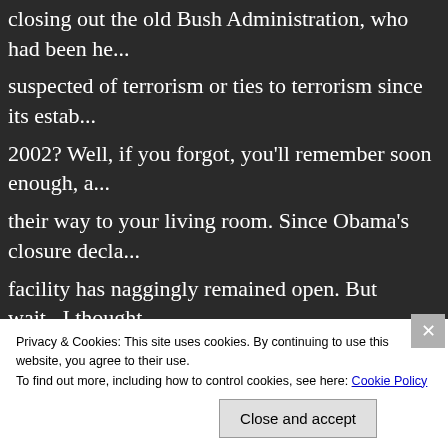closing out the old Bush Administration, who had been he... suspected of terrorism or ties to terrorism since its estab... 2002? Well, if you forgot, you'll remember soon enough, a... their way to your living room. Since Obama's closure decla... facility has naggingly remained open. But wait...I thought... gave a presidential order to close Gitmo? Why is Gitmo st... happened? And why did we suddenly forget about this pla...
Here is what was originally mandated, straight from a WH... memorandum:
“By the authority vested in me as President and as Comm...
Privacy & Cookies: This site uses cookies. By continuing to use this website, you agree to their use.
To find out more, including how to control cookies, see here: Cookie Policy
Close and accept